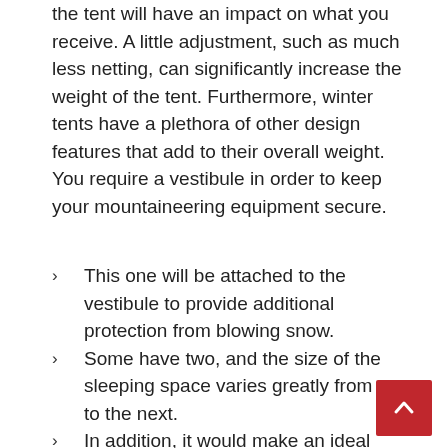the tent will have an impact on what you receive. A little adjustment, such as much less netting, can significantly increase the weight of the tent. Furthermore, winter tents have a plethora of other design features that add to their overall weight. You require a vestibule in order to keep your mountaineering equipment secure.
This one will be attached to the vestibule to provide additional protection from blowing snow.
Some have two, and the size of the sleeping space varies greatly from one to the next.
In addition, it would make an ideal winter camping tent for the outdoors.